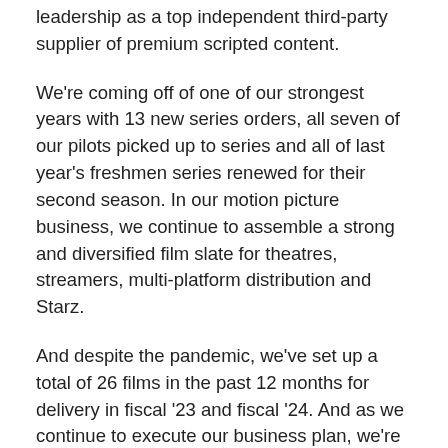leadership as a top independent third-party supplier of premium scripted content.
We're coming off of one of our strongest years with 13 new series orders, all seven of our pilots picked up to series and all of last year's freshmen series renewed for their second season. In our motion picture business, we continue to assemble a strong and diversified film slate for theatres, streamers, multi-platform distribution and Starz.
And despite the pandemic, we've set up a total of 26 films in the past 12 months for delivery in fiscal '23 and fiscal '24. And as we continue to execute our business plan, we're also executing our strong commitment to greater diversity, equity and inclusiveness in our workforce, talent relationships and content.
Turning to our individual businesses, it was a strong